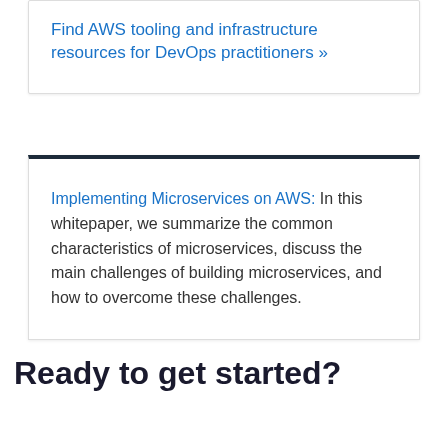Find AWS tooling and infrastructure resources for DevOps practitioners »
Implementing Microservices on AWS: In this whitepaper, we summarize the common characteristics of microservices, discuss the main challenges of building microservices, and how to overcome these challenges.
Ready to get started?